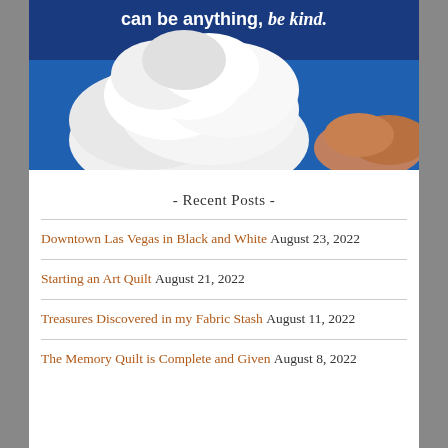[Figure (photo): Sky photo with large white cumulus clouds against deep blue sky, with white script text overlay reading 'can be anything, be kind.']
- Recent Posts -
Downtown Las Vegas in Black and White August 23, 2022
Starting an Art Quilt August 21, 2022
Treasures Discovered in my Fabric Stash August 11, 2022
The Memory Quilt is Complete and Given August 8, 2022